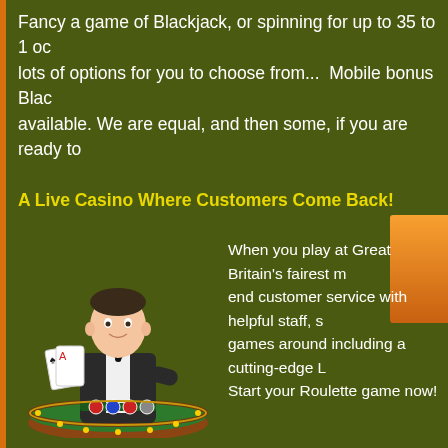Fancy a game of Blackjack, or spinning for up to 35 to 1 odds on Roulette? There are lots of options for you to choose from... Mobile bonus Blackjack and Roulette are available. We are equal, and then some, if you are ready to
[Figure (other): Orange button/banner partially visible on right side]
A Live Casino Where Customers Come Back!
[Figure (photo): Casino dealer in bow tie holding playing cards at a blackjack table]
When you play at Great Britain's fairest m... end customer service with helpful staff, s... games around including a cutting-edge L... Start your Roulette game now!